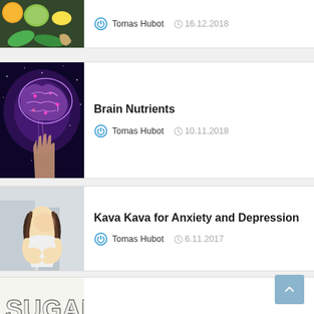[Figure (photo): Partial article card showing fruits/vegetables image, author Tomas Hubot, date 16.12.2018]
Tomas Hubot  16.12.2018
[Figure (photo): Glowing brain illustration with purple/blue galaxy background]
Brain Nutrients
Tomas Hubot  10.11.2018
[Figure (photo): Person sitting with head down, hugging knees, anxiety pose]
Kava Kava for Anxiety and Depression
Tomas Hubot  6.11.2017
[Figure (photo): SUGAR text spelled with sugar crystals, candy and donuts below]
Sugar Causes Cancer
Tomas Hubot  27.10.2017